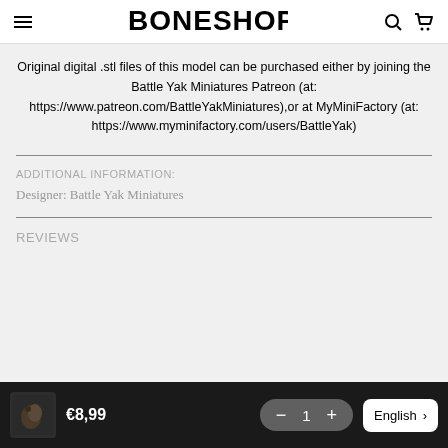BONESHOP
Original digital .stl files of this model can be purchased either by joining the Battle Yak Miniatures Patreon (at: https://www.patreon.com/BattleYakMiniatures),or at MyMiniFactory (at: https://www.myminifactory.com/users/BattleYak)
ADDITIONAL INFORMATION:
Designer: Battle Yak Miniatures
REVIEWS
€8,99  −  1  +  English  >